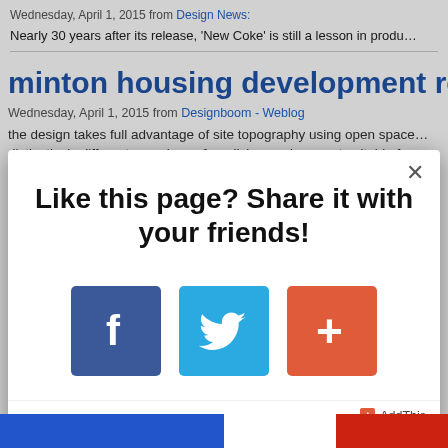Wednesday, April 1, 2015 from Design News:
Nearly 30 years after its release, 'New Coke' is still a lesson in produ…
minton housing development realized…
Wednesday, April 1, 2015 from Designboom - Weblog
the design takes full advantage of site topography using open space… distinctively different experience for a living environment suitable fo…
Like this page? Share it with your friends!
[Figure (screenshot): Share buttons: Facebook (blue), Twitter (light blue), AddThis plus (orange-red)]
AddThis